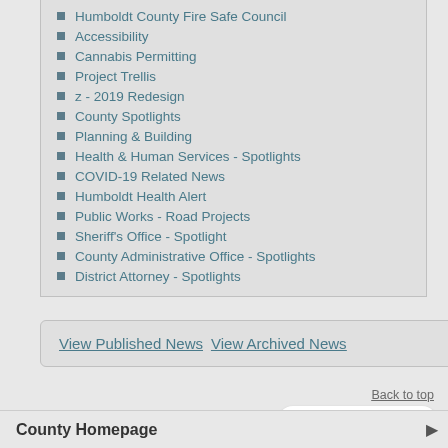Humboldt County Fire Safe Council
Accessibility
Cannabis Permitting
Project Trellis
z - 2019 Redesign
County Spotlights
Planning & Building
Health & Human Services - Spotlights
COVID-19 Related News
Humboldt Health Alert
Public Works - Road Projects
Sheriff's Office - Spotlight
County Administrative Office - Spotlights
District Attorney - Spotlights
View Published News   View Archived News
Back to top
Select Language
County Homepage